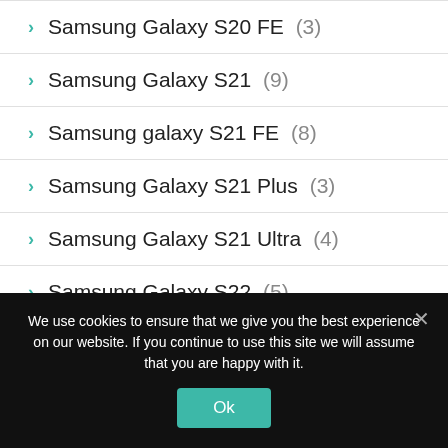Samsung Galaxy S20 FE (3)
Samsung Galaxy S21 (9)
Samsung galaxy S21 FE (8)
Samsung Galaxy S21 Plus (3)
Samsung Galaxy S21 Ultra (4)
Samsung Galaxy S22 (5)
Samsung Galaxy S22 Plus (1)
We use cookies to ensure that we give you the best experience on our website. If you continue to use this site we will assume that you are happy with it.